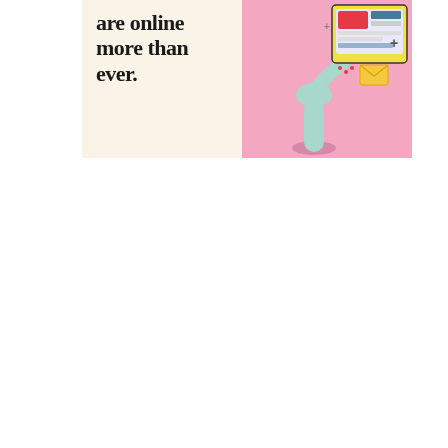are online more than ever.
[Figure (illustration): 3D illustration on pink background showing a stylized mannequin-like figure emerging from a hole, holding up a large monitor/screen with colorful interface elements, a yellow envelope icon, and small plus signs floating nearby.]